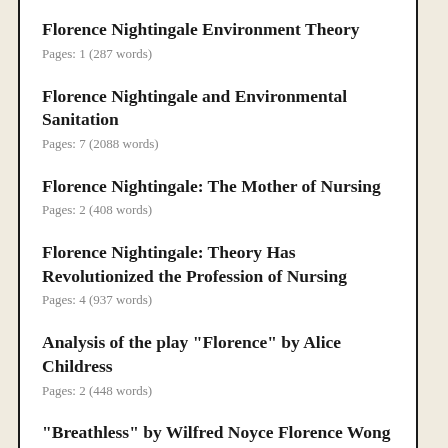Florence Nightingale Environment Theory
Pages: 1 (287 words)
Florence Nightingale and Environmental Sanitation
Pages: 7 (2088 words)
Florence Nightingale: The Mother of Nursing
Pages: 2 (408 words)
Florence Nightingale: Theory Has Revolutionized the Profession of Nursing
Pages: 4 (937 words)
Analysis of the play "Florence" by Alice Childress
Pages: 2 (448 words)
"Breathless" by Wilfred Noyce Florence Wong
Pages: 4 (943 words)
Early Renaissance in Florence and High Renaissance in Rome